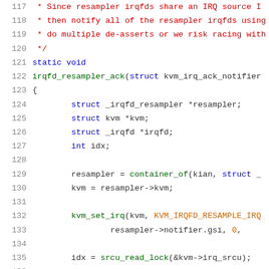[Figure (screenshot): Source code snippet showing C code for irqfd_resampler_ack function, lines 117-137, with syntax highlighting (comments in red, keywords in blue, functions in green, macros in orange)]